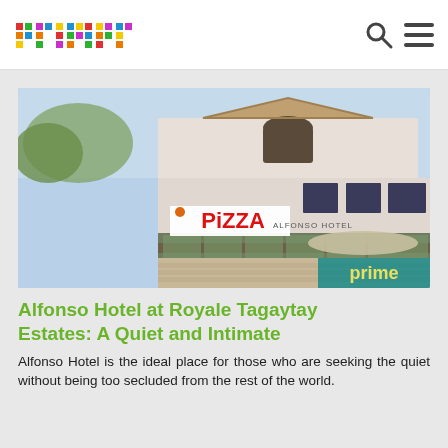primer [logo]
[Figure (photo): Exterior photo of Alfonso Hotel at Royale Tagaytay Estates, a two-storey white building with a Pizza restaurant sign on the ground floor. A 'prime' watermark logo appears at the bottom-right of the photo.]
Alfonso Hotel at Royale Tagaytay Estates: A Quiet and Intimate
Alfonso Hotel is the ideal place for those who are seeking the quiet without being too secluded from the rest of the world.